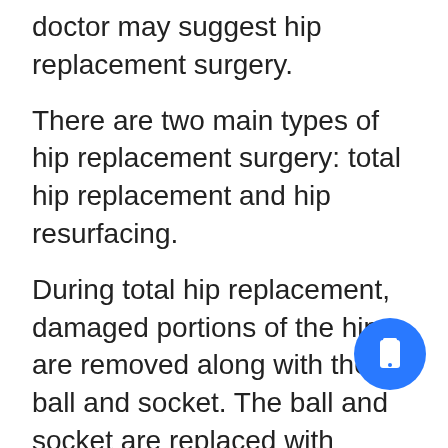doctor may suggest hip replacement surgery.
There are two main types of hip replacement surgery: total hip replacement and hip resurfacing.
During total hip replacement, damaged portions of the hip are removed along with the ball and socket. The ball and socket are replaced with artificial components which can be made from a variety of different materials. There is also a stem that is drilled into the thigh bone to which the ball attaches.
During hip resurfacing surgery, damaged portions within the socket are removed and replaced with a metal shell, but the